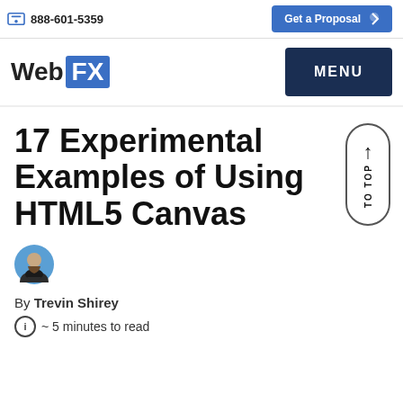888-601-5359  Get a Proposal
[Figure (logo): WebFX logo with blue FX box, and MENU button]
17 Experimental Examples of Using HTML5 Canvas
[Figure (photo): Author avatar photo of Trevin Shirey]
By Trevin Shirey
~ 5 minutes to read